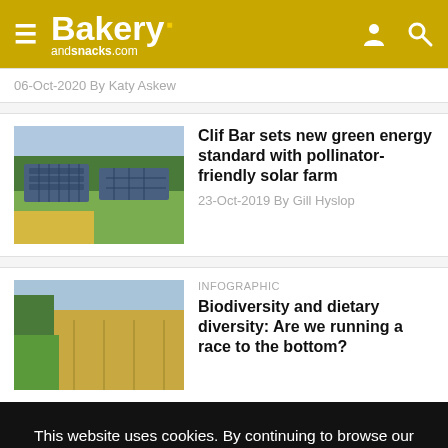Bakery andsnacks.com
06-Oct-2020 By Katy Askew
[Figure (photo): Solar panels in a green field with trees in background]
Clif Bar sets new green energy standard with pollinator-friendly solar farm
23-Oct-2019 By Gill Hyslop
[Figure (photo): Agricultural field with crops and sky]
INFOGRAPHIC
Biodiversity and dietary diversity: Are we running a race to the bottom?
This website uses cookies. By continuing to browse our website, you are agreeing to our use of cookies. You can learn more about cookies by visiting our privacy & cookies policy page.
I Agree